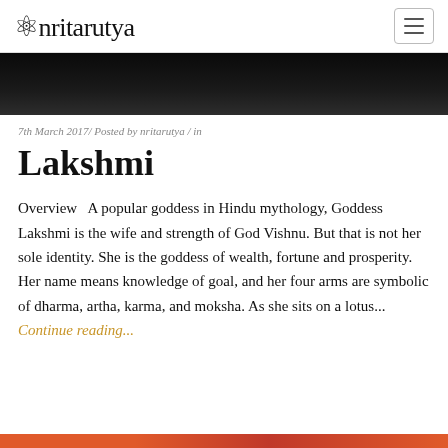nritarutya
[Figure (photo): Dark/black hero banner image]
7th March 2017/ Posted by nritarutya / in
Lakshmi
Overview   A popular goddess in Hindu mythology, Goddess Lakshmi is the wife and strength of God Vishnu. But that is not her sole identity. She is the goddess of wealth, fortune and prosperity. Her name means knowledge of goal, and her four arms are symbolic of dharma, artha, karma, and moksha. As she sits on a lotus... Continue reading...